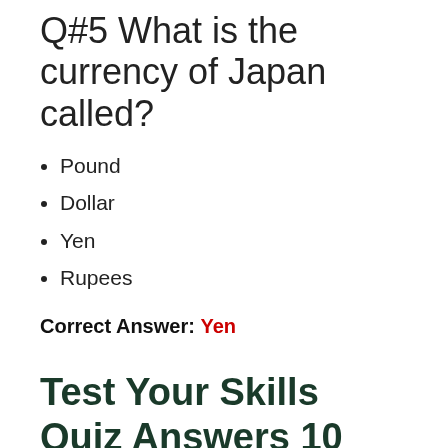Q#5 What is the currency of Japan called?
Pound
Dollar
Yen
Rupees
Correct Answer: Yen
Test Your Skills Quiz Answers 10 May 2022